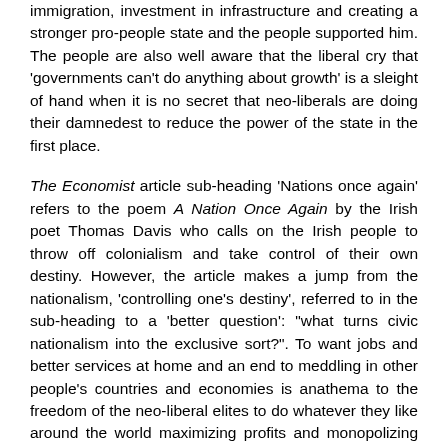immigration, investment in infrastructure and creating a stronger pro-people state and the people supported him. The people are also well aware that the liberal cry that 'governments can't do anything about growth' is a sleight of hand when it is no secret that neo-liberals are doing their damnedest to reduce the power of the state in the first place.
The Economist article sub-heading 'Nations once again' refers to the poem A Nation Once Again by the Irish poet Thomas Davis who calls on the Irish people to throw off colonialism and take control of their own destiny. However, the article makes a jump from the nationalism, 'controlling one's destiny', referred to in the sub-heading to a 'better question': "what turns civic nationalism into the exclusive sort?". To want jobs and better services at home and an end to meddling in other people's countries and economies is anathema to the freedom of the neo-liberal elites to do whatever they like around the world maximizing profits and monopolizing control of world markets.
Sure, Brexit and the Trump election are good examples of passive politics, of people sitting back, casting a vote and hoping for the best, or at least better. There is nothing new in this, it may even be a